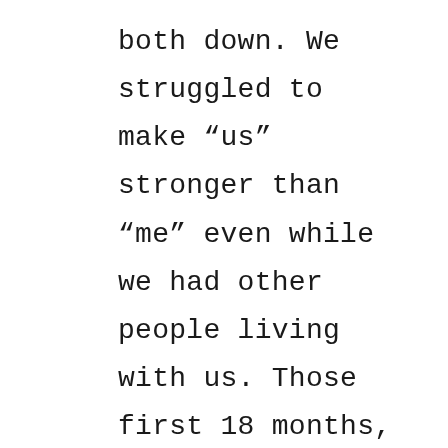both down. We struggled to make “us” stronger than “me” even while we had other people living with us. Those first 18 months, two contractors lived with us and, every day, I cleaned for and fed four people. It was exhausting and exhilarating. Even with all our baggage, I knew Dave was a man worth the wait. A man who would grieve so heavily and so long for his first wife, was worthy of his namesake, David. Very soon after meeting him, I knew I’d have gone to hell to fetch him; as it was, I only had to go to the gates and wait. I feel his presence and his absence each and every day. Never am I unaware he’s